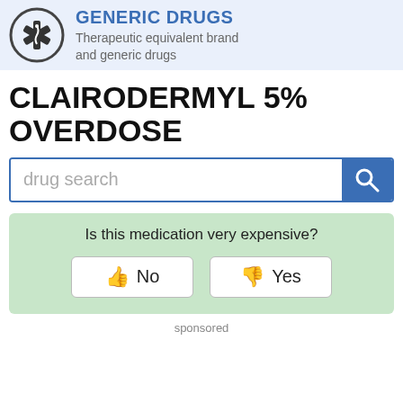GENERIC DRUGS
Therapeutic equivalent brand and generic drugs
CLAIRODERMYL 5% OVERDOSE
drug search
Is this medication very expensive?
No  Yes
sponsored